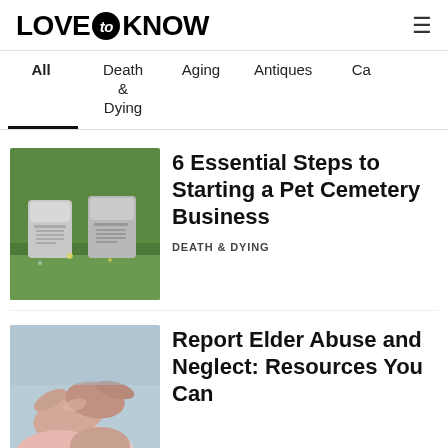LOVE to KNOW
All
Death & Dying
Aging
Antiques
Ca
[Figure (photo): Two pet cemetery grave stones on green grass]
6 Essential Steps to Starting a Pet Cemetery Business
DEATH & DYING
[Figure (photo): Elderly hands clasped together, caring gesture]
Report Elder Abuse and Neglect: Resources You Can